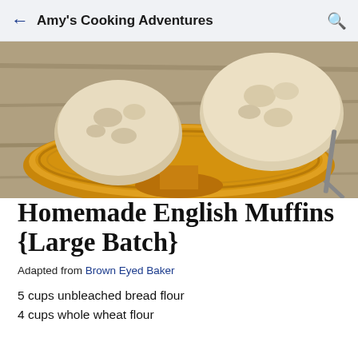Amy's Cooking Adventures
[Figure (photo): Homemade English muffins on a decorative amber/gold pedestal plate on a wooden surface]
Homemade English Muffins {Large Batch}
Adapted from Brown Eyed Baker
5 cups unbleached bread flour
4 cups whole wheat flour